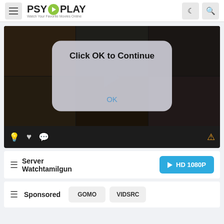PSY PLAY — Watch Your Favorite Movies Online
[Figure (screenshot): Video player showing movie content with a 'Click OK to Continue' dialog overlay and OK button]
Server Watchtamilgun
HD 1080P
Sponsored
GOMO
VIDSRC